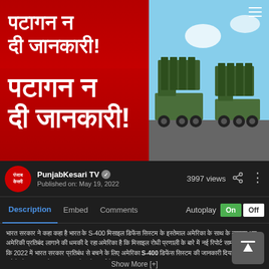[Figure (screenshot): News video thumbnail showing Hindi text 'Pentagon ne di jaankari!' on red background with S-400 missile defense system trucks visible on right side]
PunjabKesari TV ✓
Published on: May 19, 2022
3997 views
Description   Embed   Comments   Autoplay On Off
भारत सरकार ने कहा कहा है भारत के S-400 मिसाइल डिफेंस सिस्टम के इस्तेमाल अमेरिका के साथ के व्यवहार अब अमेरिकी प्रतिबंद लागाने की धमकी दे रहा अमेरिका है कि मिसाइल रोधी प्रणाली के बारे में नई रिपोर्ट सामने आ गई है कि 2022 में भारत सरकार प्रतिबंध से बचने के लिए अमेरिका S-400 डिफेंस सिस्टम की जानकारी दिया होगी अमेरिकी सरकार को कुछ जानकारियां मिल गई हैं।
Show More [+]